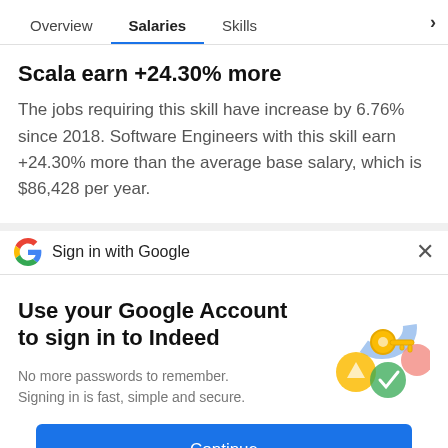Overview | Salaries | Skills
Scala earn +24.30% more
The jobs requiring this skill have increase by 6.76% since 2018. Software Engineers with this skill earn +24.30% more than the average base salary, which is $86,428 per year.
Sign in with Google
Use your Google Account to sign in to Indeed
No more passwords to remember.
Signing in is fast, simple and secure.
[Figure (illustration): Google sign-in illustration with a gold key, colorful circles in blue, yellow, green, and pink]
Continue